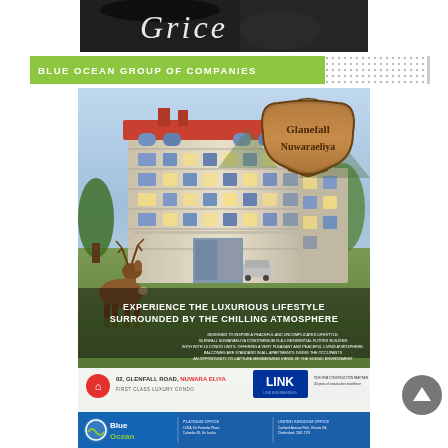[Figure (photo): Black and white photo with cursive/script text overlay at the top]
BLUE OCEAN GROUP OF COMPANIES
[Figure (illustration): Real estate advertisement for Glanefall Nuwaraeliya condominium showing a multi-story building with a deer in the foreground, wooden sign badge, headline text 'EXPERIENCE THE LUXURIOUS LIFESTYLE SURROUNDED BY THE CHILLING ATMOSPHERE', address '02, GLENFALL ROAD, NUWARA ELIYA FIRST CLASS LUXURY CONDO', and LINK Engineering logo]
[Figure (logo): Blue Ocean company footer banner with logo and platinum/United Kingdom office contact details]